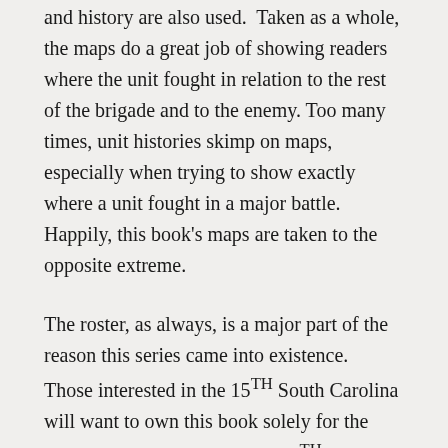and history are also used. Taken as a whole, the maps do a great job of showing readers where the unit fought in relation to the rest of the brigade and to the enemy. Too many times, unit histories skimp on maps, especially when trying to show exactly where a unit fought in a major battle. Happily, this book's maps are taken to the opposite extreme.
The roster, as always, is a major part of the reason this series came into existence. Those interested in the 15TH South Carolina will want to own this book solely for the roster alone. Members of the 15TH South Carolina are organized in alphabetical order by last name for the entire regiment. The roster is not broken down by company but company affiliation for each man is prominently noted immediately after each man's name. Broadfoot and the author went to great extremes to procure information for the roster, including many